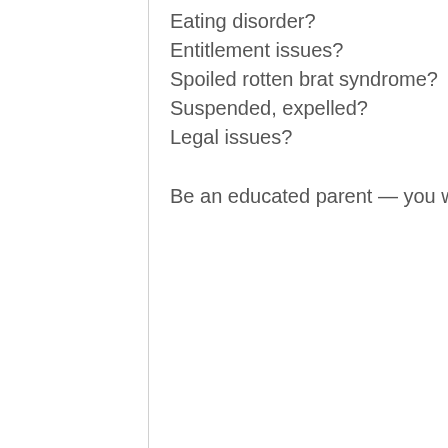Eating disorder?
Entitlement issues?
Spoiled rotten brat syndrome?
Suspended, expelled?
Legal issues?
Be an educated parent — you will make the best decision for your i…